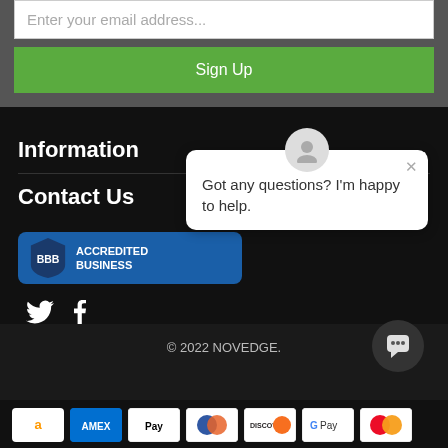Enter your email address...
Sign Up
Information
Contact Us
[Figure (logo): BBB Accredited Business badge]
[Figure (infographic): Chat popup with avatar: Got any questions? I'm happy to help.]
© 2022 NOVEDGE.
[Figure (infographic): Payment method icons: Amazon, Amex, Apple Pay, Diners Club, Discover, Google Pay, Mastercard, PayPal]